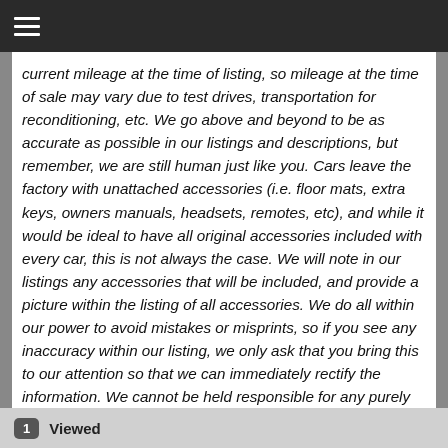current mileage at the time of listing, so mileage at the time of sale may vary due to test drives, transportation for reconditioning, etc. We go above and beyond to be as accurate as possible in our listings and descriptions, but remember, we are still human just like you. Cars leave the factory with unattached accessories (i.e. floor mats, extra keys, owners manuals, headsets, remotes, etc), and while it would be ideal to have all original accessories included with every car, this is not always the case. We will note in our listings any accessories that will be included, and provide a picture within the listing of all accessories. We do all within our power to avoid mistakes or misprints, so if you see any inaccuracy within our listing, we only ask that you bring this to our attention so that we can immediately rectify the information. We cannot be held responsible for any purely accidental inaccuracies. Since our ultimate goal is 100% customer satisfaction, we ask every customer to verify the listed equipment at the time of purchase with
1  Viewed